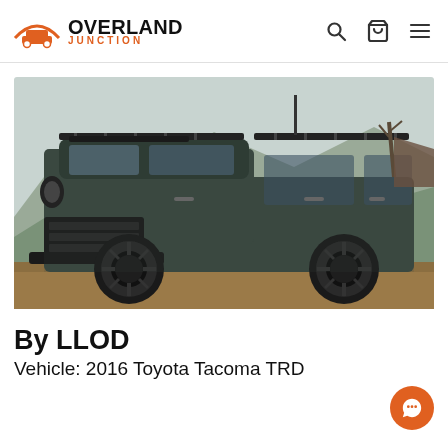OVERLAND JUNCTION
[Figure (photo): A dark gray/green Toyota Tacoma TRD 2016 with a roof rack, large off-road tires, and amber fog lights, parked on a dirt trail in front of a rocky desert hillside with mountains in the background.]
By LLOD
Vehicle: 2016 Toyota Tacoma TRD